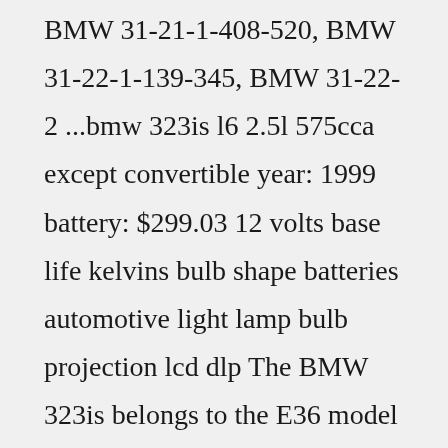BMW 31-21-1-408-520, BMW 31-22-1-139-345, BMW 31-22-2 ...bmw 323is l6 2.5l 575cca except convertible year: 1999 battery: $299.03 12 volts base life kelvins bulb shape batteries automotive light lamp bulb projection lcd dlp The BMW 323is belongs to the E36 model family from BMW. It is powered by a naturally aspirated engine of 2.5 litre capacity. This powerplant features double overhead camshaft valve gear, 6 cylinder layout, and 4 valves per